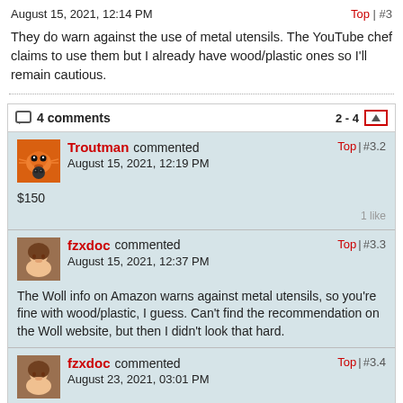August 15, 2021, 12:14 PM    Top | #3
They do warn against the use of metal utensils. The YouTube chef claims to use them but I already have wood/plastic ones so I'll remain cautious.
4 comments    2 - 4
Troutman commented   Top | #3.2
August 15, 2021, 12:19 PM
$150
1 like
fzxdoc commented   Top | #3.3
August 15, 2021, 12:37 PM
The Woll info on Amazon warns against metal utensils, so you're fine with wood/plastic, I guess. Can't find the recommendation on the Woll website, but then I didn't look that hard.
fzxdoc commented   Top | #3.4
August 23, 2021, 03:01 PM